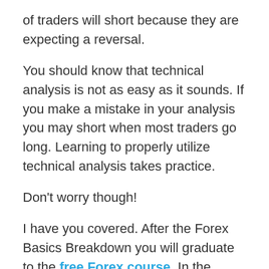of traders will short because they are expecting a reversal.
You should know that technical analysis is not as easy as it sounds. If you make a mistake in your analysis you may short when most traders go long. Learning to properly utilize technical analysis takes practice.
Don't worry though!
I have you covered. After the Forex Basics Breakdown you will graduate to the free Forex course. In the course you will learn to put safeguards in place to protect your account.